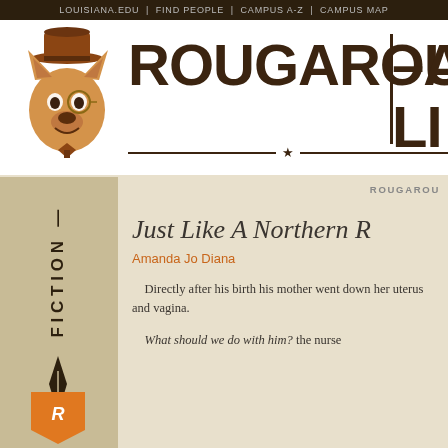LOUISIANA.EDU | FIND PEOPLE | CAMPUS A-Z | CAMPUS MAP
[Figure (logo): Rougarou literary journal banner with wolf mascot in top hat, large ROUGAROU! text, and AN- LI partial text visible on right]
ROUGAROU
Just Like A Northern R
Amanda Jo Diana
Directly after his birth his mother went down her uterus and vagina.
What should we do with him? the nurs